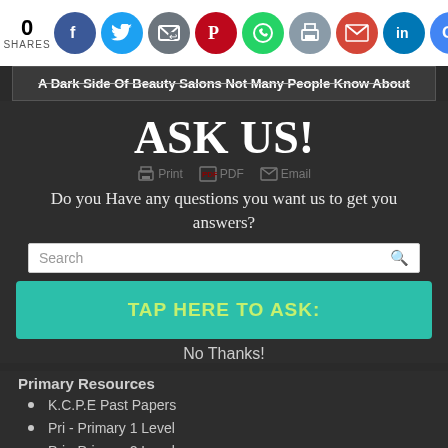0 SHARES — social share icons: Facebook, Twitter, Share, Pinterest, WhatsApp, Print, Gmail, LinkedIn, Google
A Dark Side Of Beauty Salons Not Many People Know About
ASK US!
Print  PDF  Email
Do you Have any questions you want us to get you answers?
Search
TAP HERE TO ASK:
No Thanks!
Primary Resources
K.C.P.E Past Papers
Pri  - Primary 1 Level
Pri  - Primary 2 Level
Grade 1